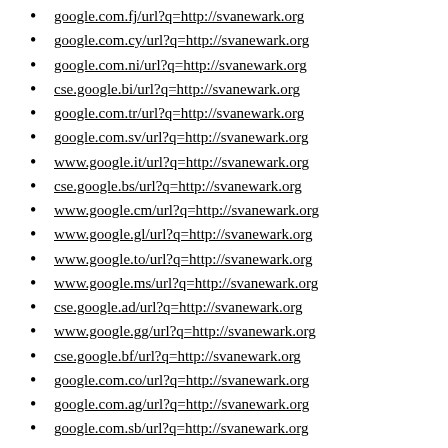google.com.fj/url?q=http://svanewark.org
google.com.cy/url?q=http://svanewark.org
google.com.ni/url?q=http://svanewark.org
cse.google.bi/url?q=http://svanewark.org
google.com.tr/url?q=http://svanewark.org
google.com.sv/url?q=http://svanewark.org
www.google.it/url?q=http://svanewark.org
cse.google.bs/url?q=http://svanewark.org
www.google.cm/url?q=http://svanewark.org
www.google.gl/url?q=http://svanewark.org
www.google.to/url?q=http://svanewark.org
www.google.ms/url?q=http://svanewark.org
cse.google.ad/url?q=http://svanewark.org
www.google.gg/url?q=http://svanewark.org
cse.google.bf/url?q=http://svanewark.org
google.com.co/url?q=http://svanewark.org
google.com.ag/url?q=http://svanewark.org
google.com.sb/url?q=http://svanewark.org
www.google.vu/url?q=http://svanewark.org